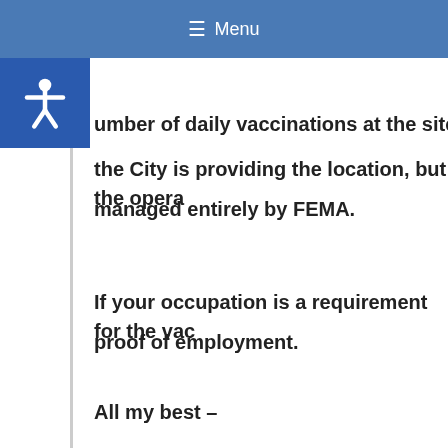administer second dose vaccinations. The ant
☰ Menu
umber of daily vaccinations at the site is 500
the City is providing the location, but the opera managed entirely by FEMA.
If your occupation is a requirement for the vac proof of employment.
All my best –